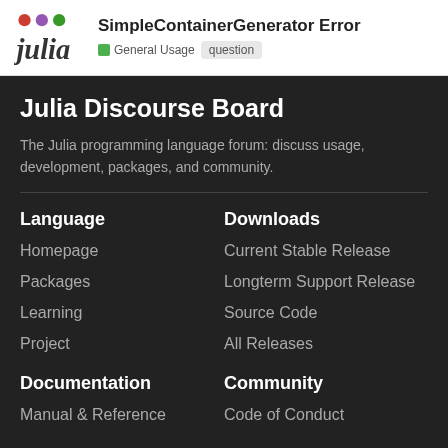SimpleContainerGenerator Error — General Usage · question
Julia Discourse Board
The Julia programming language forum: discuss usage, development, packages, and community.
Language
Homepage
Packages
Learning
Project
Downloads
Current Stable Release
Longterm Support Release
Source Code
All Releases
Documentation
Manual & Reference
Community
Code of Conduct